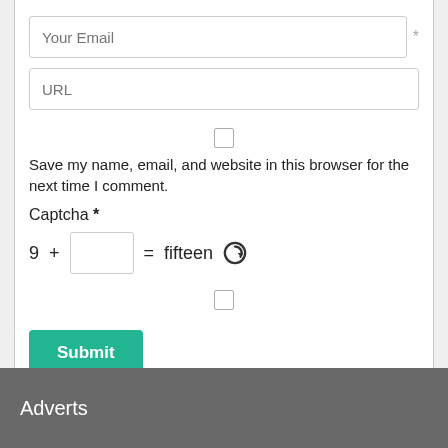Your Email *
URL
Save my name, email, and website in this browser for the next time I comment.
Captcha *
9 + [ ] = fifteen
Submit
Adverts